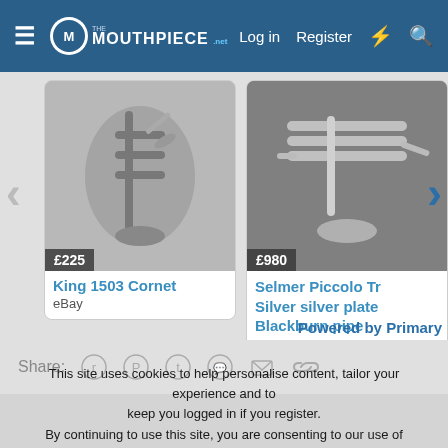The Mouthpiece | Log in | Register
[Figure (screenshot): Carousel showing two musical instrument listings: King 1503 Cornet at £225 (eBay) and Selmer Piccolo Trumpet Silver silver plate Blackburn pipe (eBay) at £980]
King 1503 Cornet
eBay
Selmer Piccolo Tr Silver silver plate Blackburn pipe
eBay
Powered by Primary
Share:
This site uses cookies to help personalise content, tailor your experience and to keep you logged in if you register.
By continuing to use this site, you are consenting to our use of cookies.
✓ Accept   Learn more...